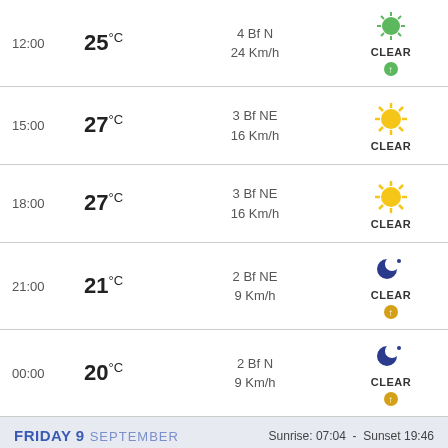| Time | Temp | Wind | Condition |
| --- | --- | --- | --- |
| 12:00 | 25°C | 4 Bf N / 24 Km/h | CLEAR |
| 15:00 | 27°C | 3 Bf NE / 16 Km/h | CLEAR |
| 18:00 | 27°C | 3 Bf NE / 16 Km/h | CLEAR |
| 21:00 | 21°C | 2 Bf NE / 9 Km/h | CLEAR |
| 00:00 | 20°C | 2 Bf N / 9 Km/h | CLEAR |
FRIDAY 9 SEPTEMBER   Sunrise: 07:04 - Sunset 19:46